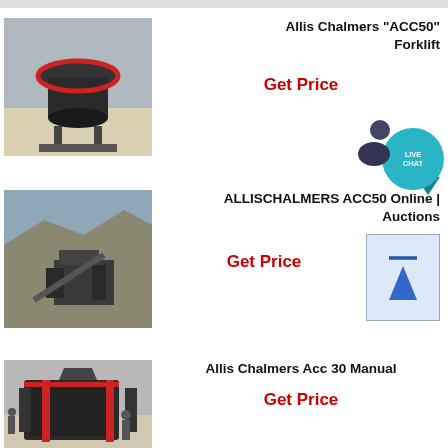[Figure (photo): Industrial cone crusher machine in a factory setting]
Allis Chalmers "ACC50" Forklift
Get Price
[Figure (photo): Outdoor mining operation with crusher equipment]
ALLISCHALMERS ACC50 Online | Auctions
Get Price
[Figure (other): Scroll-to-top button with blue arrow]
[Figure (photo): Heavy-duty impact crusher machine in industrial setting]
Allis Chalmers Acc 30 Manual
Get Price